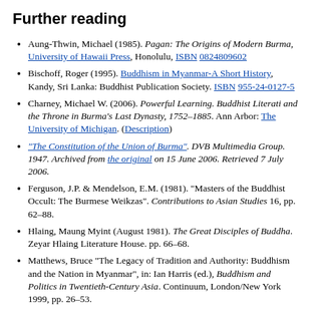Further reading
Aung-Thwin, Michael (1985). Pagan: The Origins of Modern Burma, University of Hawaii Press, Honolulu, ISBN 0824809602
Bischoff, Roger (1995). Buddhism in Myanmar-A Short History, Kandy, Sri Lanka: Buddhist Publication Society. ISBN 955-24-0127-5
Charney, Michael W. (2006). Powerful Learning. Buddhist Literati and the Throne in Burma's Last Dynasty, 1752–1885. Ann Arbor: The University of Michigan. (Description)
"The Constitution of the Union of Burma". DVB Multimedia Group. 1947. Archived from the original on 15 June 2006. Retrieved 7 July 2006.
Ferguson, J.P. & Mendelson, E.M. (1981). "Masters of the Buddhist Occult: The Burmese Weikzas". Contributions to Asian Studies 16, pp. 62–88.
Hlaing, Maung Myint (August 1981). The Great Disciples of Buddha. Zeyar Hlaing Literature House. pp. 66–68.
Matthews, Bruce "The Legacy of Tradition and Authority: Buddhism and the Nation in Myanmar", in: Ian Harris (ed.), Buddhism and Politics in Twentieth-Century Asia. Continuum, London/New York 1999, pp. 26–53.